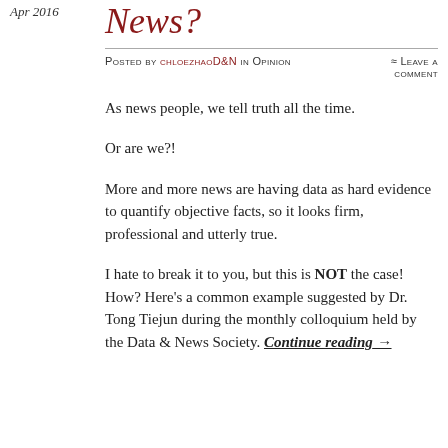Apr 2016
News?
Posted by chloezhaoD&N in Opinion
≈ Leave a comment
As news people, we tell truth all the time.
Or are we?!
More and more news are having data as hard evidence to quantify objective facts, so it looks firm, professional and utterly true.
I hate to break it to you, but this is NOT the case! How? Here's a common example suggested by Dr. Tong Tiejun during the monthly colloquium held by the Data & News Society. Continue reading →